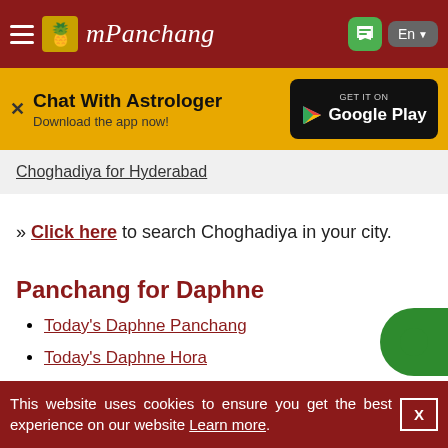mPanchang
[Figure (screenshot): Chat With Astrologer banner with Google Play download button on yellow background]
Choghadiya for Hyderabad
» Click here to search Choghadiya in your city.
Panchang for Daphne
Today's Daphne Panchang
Today's Daphne Hora
Today's Daphne Gauri Panchangam
This website uses cookies to ensure you get the best experience on our website Learn more.